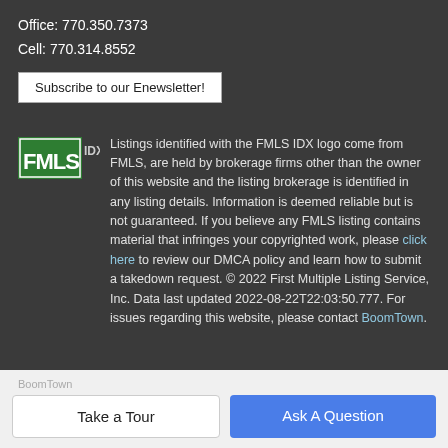Office: 770.350.7373
Cell: 770.314.8552
Subscribe to our Enewsletter!
[Figure (logo): FMLS IDX logo — green and white letters on green background]
Listings identified with the FMLS IDX logo come from FMLS, are held by brokerage firms other than the owner of this website and the listing brokerage is identified in any listing details. Information is deemed reliable but is not guaranteed. If you believe any FMLS listing contains material that infringes your copyrighted work, please click here to review our DMCA policy and learn how to submit a takedown request. © 2022 First Multiple Listing Service, Inc. Data last updated 2022-08-22T22:03:50.777. For issues regarding this website, please contact BoomTown.
Take a Tour
Ask A Question